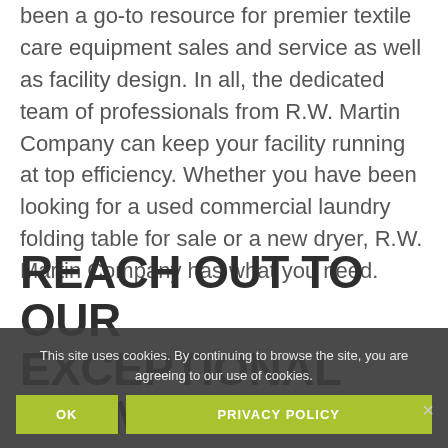been a go-to resource for premier textile care equipment sales and service as well as facility design. In all, the dedicated team of professionals from R.W. Martin Company can keep your facility running at top efficiency. Whether you have been looking for a used commercial laundry folding table for sale or a new dryer, R.W. Martin Company has what you need.
REACH OUT TO OUR EXCEPTIONAL TEAM OF BOTH INTERNET MARKETING AND
This site uses cookies. By continuing to browse the site, you are agreeing to our use of cookies.
OK
PRIVACY POLICY